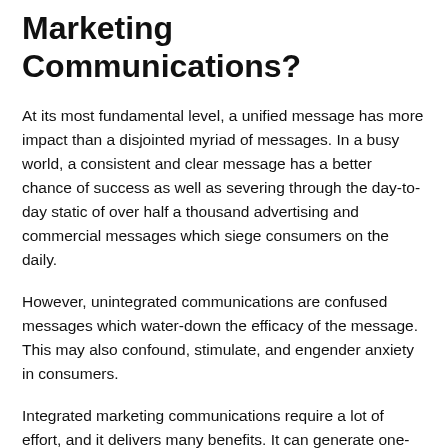Marketing Communications?
At its most fundamental level, a unified message has more impact than a disjointed myriad of messages. In a busy world, a consistent and clear message has a better chance of success as well as severing through the day-to-day static of over half a thousand advertising and commercial messages which siege consumers on the daily.
However, unintegrated communications are confused messages which water-down the efficacy of the message. This may also confound, stimulate, and engender anxiety in consumers.
Integrated marketing communications require a lot of effort, and it delivers many benefits. It can generate one-upmanship, improve sales and earnings while conserving time, stress and…